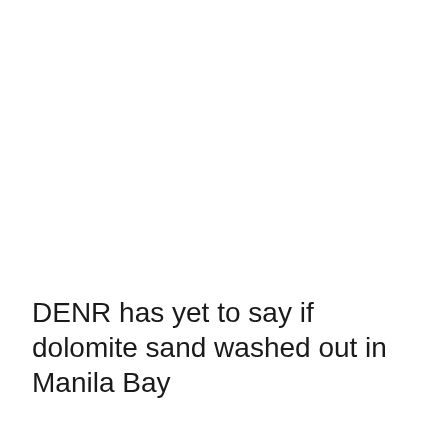DENR has yet to say if dolomite sand washed out in Manila Bay